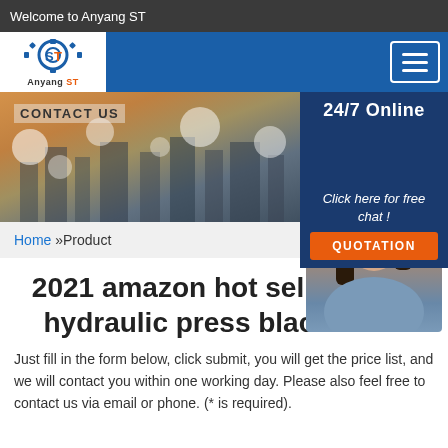Welcome to Anyang ST
[Figure (logo): Anyang ST company logo with gear and ST initials in blue and red on white background]
[Figure (photo): Contact Us banner with city skyline and decorative light bokeh circles]
[Figure (photo): 24/7 Online customer service representative with headset on dark blue background]
Home »Product
Click here for free chat !
QUOTATION
2021 amazon hot sell forging hydraulic press blacksmith
Just fill in the form below, click submit, you will get the price list, and we will contact you within one working day. Please also feel free to contact us via email or phone. (* is required).